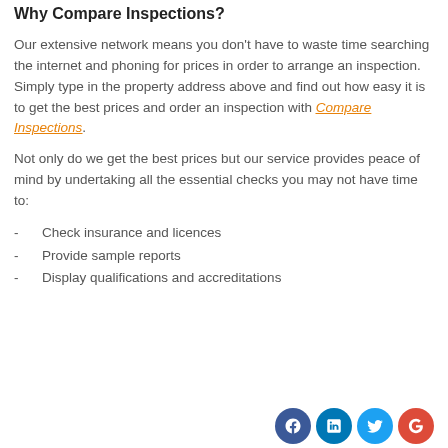Why Compare Inspections?
Our extensive network means you don't have to waste time searching the internet and phoning for prices in order to arrange an inspection. Simply type in the property address above and find out how easy it is to get the best prices and order an inspection with Compare Inspections.
Not only do we get the best prices but our service provides peace of mind by undertaking all the essential checks you may not have time to:
-     Check insurance and licences
-     Provide sample reports
-     Display qualifications and accreditations
[Figure (infographic): Social media icons: Facebook, LinkedIn, Twitter, Google+]